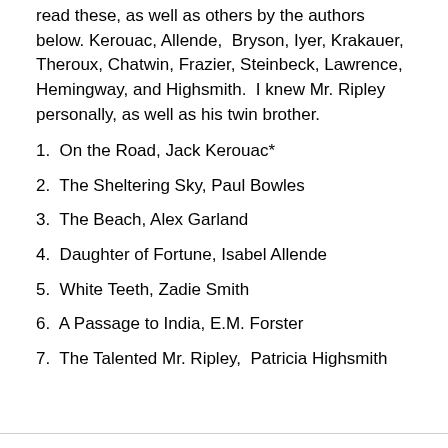read these, as well as others by the authors below. Kerouac, Allende, Bryson, Iyer, Krakauer, Theroux, Chatwin, Frazier, Steinbeck, Lawrence, Hemingway, and Highsmith. I knew Mr. Ripley personally, as well as his twin brother.
1.  On the Road, Jack Kerouac*
2.  The Sheltering Sky, Paul Bowles
3.  The Beach, Alex Garland
4.  Daughter of Fortune, Isabel Allende
5.  White Teeth, Zadie Smith
6.  A Passage to India, E.M. Forster
7.  The Talented Mr. Ripley,  Patricia Highsmith